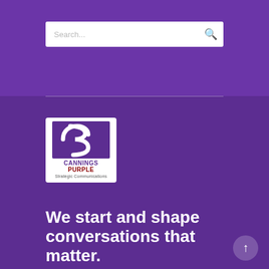[Figure (screenshot): Search bar with placeholder text 'Search...' and a search icon on a purple background]
[Figure (logo): Cannings Purple Strategic Communications logo — white rounded rectangle containing a purple abstract S/P icon and text 'CANNINGS PURPLE Strategic Communications']
We start and shape conversations that matter.